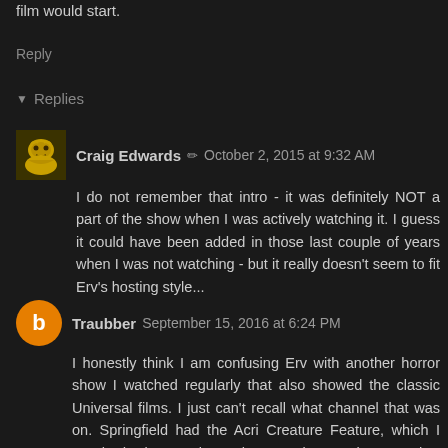film would start.
Reply
▼ Replies
Craig Edwards ✏ October 2, 2015 at 9:32 AM
I do not remember that intro - it was definitely NOT a part of the show when I was actively watching it. I guess it could have been added in those last couple of years when I was not watching - but it really doesn't seem to fit Erv's hosting style...
Traubber September 15, 2016 at 6:24 PM
I honestly think I am confusing Erv with another horror show I watched regularly that also showed the classic Universal films. I just can't recall what channel that was on. Springfield had the Acri Creature Feature, which I watched a lot, so I know that's not it. Was there another public TV